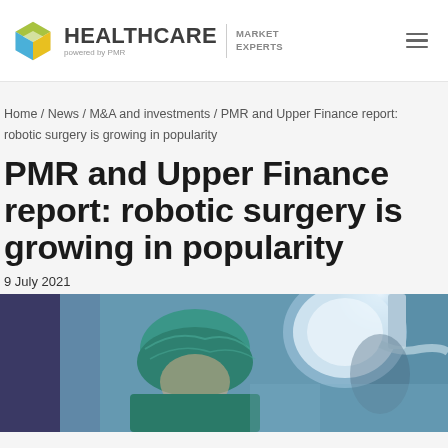HEALTHCARE MARKET EXPERTS powered by PMR
Home / News / M&A and investments / PMR and Upper Finance report: robotic surgery is growing in popularity
PMR and Upper Finance report: robotic surgery is growing in popularity
9 July 2021
[Figure (photo): Surgeon wearing teal surgical cap and gown in operating room with large surgical light overhead]